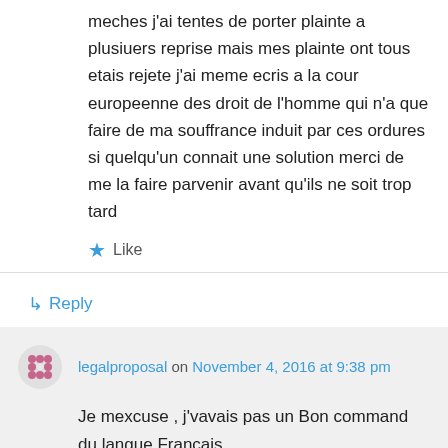meches j'ai tentes de porter plainte a plusiuers reprise mais mes plainte ont tous etais rejete j'ai meme ecris a la cour europeenne des droit de l'homme qui n'a que faire de ma souffrance induit par ces ordures si quelqu'un connait une solution merci de me la faire parvenir avant qu'ils ne soit trop tard
★ Like
↳ Reply
legalproposal on November 4, 2016 at 9:38 pm
Je mexcuse , j'vavais pas un Bon command du langue Francais.

Je suis un home qui habitue en